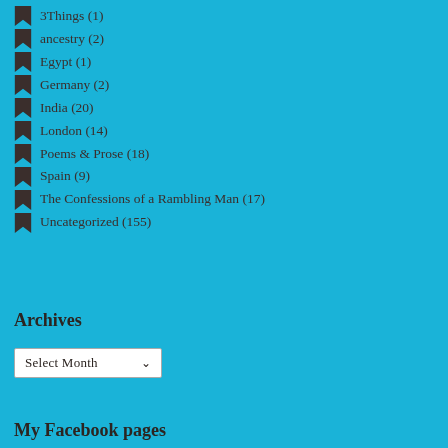3Things (1)
ancestry (2)
Egypt (1)
Germany (2)
India (20)
London (14)
Poems & Prose (18)
Spain (9)
The Confessions of a Rambling Man (17)
Uncategorized (155)
Archives
Select Month
My Facebook pages